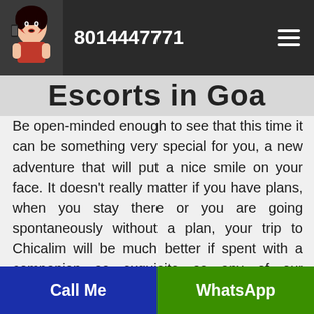8014447771
Escorts in Goa
Be open-minded enough to see that this time it can be something very special for you, a new adventure that will put a nice smile on your face. It doesn't really matter if you have plans, when you stay there or you are going spontaneously without a plan, your trip to Chicalim will be much better if spent with a companion as exquisite as any of our sweetheart Chicalim escorts call girls. Every Chicalim escorts that is working for us is a unique beauty, but also a real professional that using her
Call Me | WhatsApp